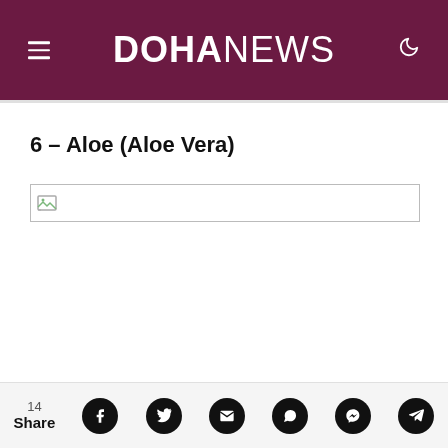DOHANEWS
6 - Aloe (Aloe Vera)
[Figure (photo): Broken image placeholder for aloe vera article image]
14 Share [Facebook] [Twitter] [Email] [WhatsApp] [Messenger] [Telegram]